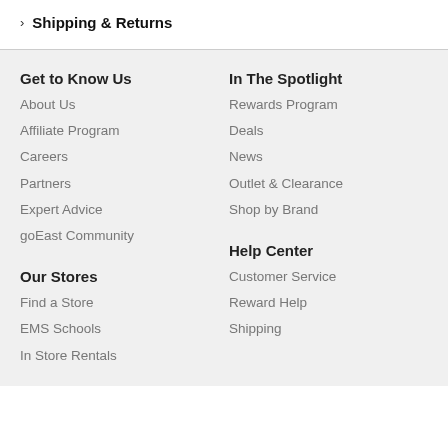Shipping & Returns
Get to Know Us
About Us
Affiliate Program
Careers
Partners
Expert Advice
goEast Community
In The Spotlight
Rewards Program
Deals
News
Outlet & Clearance
Shop by Brand
Our Stores
Find a Store
EMS Schools
In Store Rentals
Help Center
Customer Service
Reward Help
Shipping